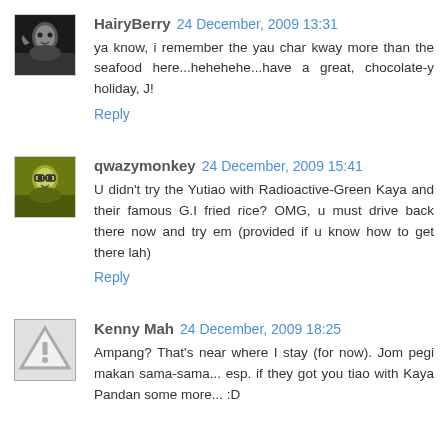[Figure (photo): Small black and white avatar photo of HairyBerry]
HairyBerry 24 December, 2009 13:31
ya know, i remember the yau char kway more than the seafood here...hehehehe...have a great, chocolate-y holiday, J!
Reply
[Figure (photo): Small yellow-green tinted avatar photo of qwazymonkey]
qwazymonkey 24 December, 2009 15:41
U didn't try the Yutiao with Radioactive-Green Kaya and their famous G.I fried rice? OMG, u must drive back there now and try em (provided if u know how to get there lah)
Reply
[Figure (illustration): Small triangle warning/caution icon avatar for Kenny Mah]
Kenny Mah 24 December, 2009 18:25
Ampang? That's near where I stay (for now). Jom pegi makan sama-sama... esp. if they got you tiao with Kaya Pandan some more... :D